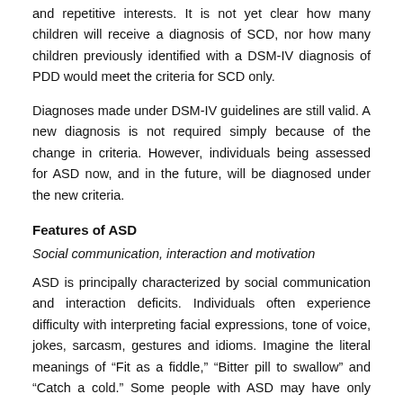and repetitive interests. It is not yet clear how many children will receive a diagnosis of SCD, nor how many children previously identified with a DSM-IV diagnosis of PDD would meet the criteria for SCD only.
Diagnoses made under DSM-IV guidelines are still valid. A new diagnosis is not required simply because of the change in criteria. However, individuals being assessed for ASD now, and in the future, will be diagnosed under the new criteria.
Features of ASD
Social communication, interaction and motivation
ASD is principally characterized by social communication and interaction deficits. Individuals often experience difficulty with interpreting facial expressions, tone of voice, jokes, sarcasm, gestures and idioms. Imagine the literal meanings of “Fit as a fiddle,” “Bitter pill to swallow” and “Catch a cold.” Some people with ASD may have only limited speech or may be completely non-verbal. [4,5] Echolalia, pronoun reversal, unusual vocalisations and unusual accents are common. [4,5]